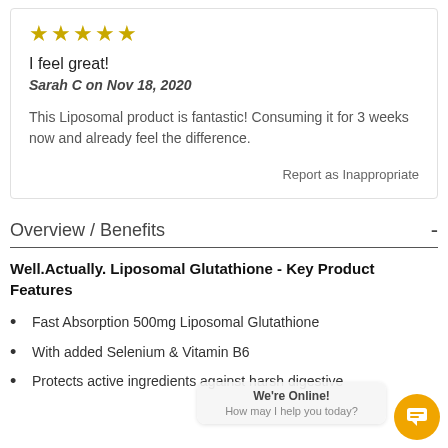[Figure (other): Five gold/yellow star rating icons]
I feel great!
Sarah C on Nov 18, 2020
This Liposomal product is fantastic! Consuming it for 3 weeks now and already feel the difference.
Report as Inappropriate
Overview / Benefits
Well.Actually. Liposomal Glutathione - Key Product Features
Fast Absorption 500mg Liposomal Glutathione
With added Selenium & Vitamin B6
Protects active ingredients against harsh digestive